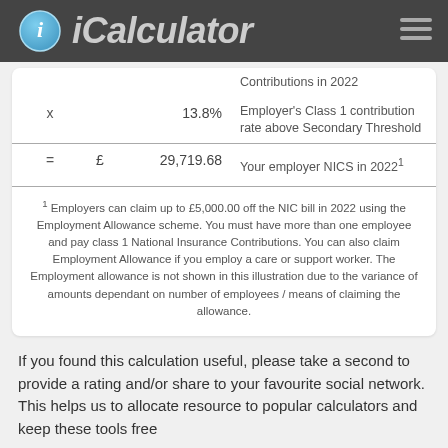iCalculator
| sym | currency | value | description |
| --- | --- | --- | --- |
| x |  | 13.8% | Employer's Class 1 contribution rate above Secondary Threshold |
| = | £ | 29,719.68 | Your employer NICS in 20221 |
1 Employers can claim up to £5,000.00 off the NIC bill in 2022 using the Employment Allowance scheme. You must have more than one employee and pay class 1 National Insurance Contributions. You can also claim Employment Allowance if you employ a care or support worker. The Employment allowance is not shown in this illustration due to the variance of amounts dependant on number of employees / means of claiming the allowance.
If you found this calculation useful, please take a second to provide a rating and/or share to your favourite social network. This helps us to allocate resource to popular calculators and keep these tools free for all.